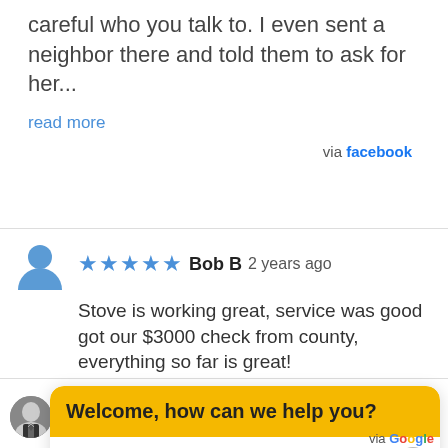careful who you talk to. I even sent a neighbor there and told them to ask for her...
read more
via facebook
★★★★★ Bob B 2 years ago
Stove is working great, service was good got our $3000 check from county, everything so far is great!
Welcome, how can we help you?
Write your message...
via Google